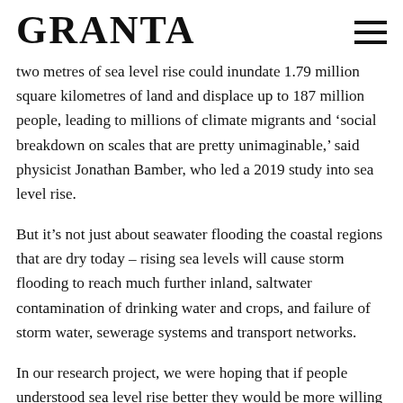GRANTA
two metres of sea level rise could inundate 1.79 million square kilometres of land and displace up to 187 million people, leading to millions of climate migrants and ‘social breakdown on scales that are pretty unimaginable,’ said physicist Jonathan Bamber, who led a 2019 study into sea level rise.
But it’s not just about seawater flooding the coastal regions that are dry today – rising sea levels will cause storm flooding to reach much further inland, saltwater contamination of drinking water and crops, and failure of storm water, sewerage systems and transport networks.
In our research project, we were hoping that if people understood sea level rise better they would be more willing to take action to adapt – to prepare for the sea level rise that was